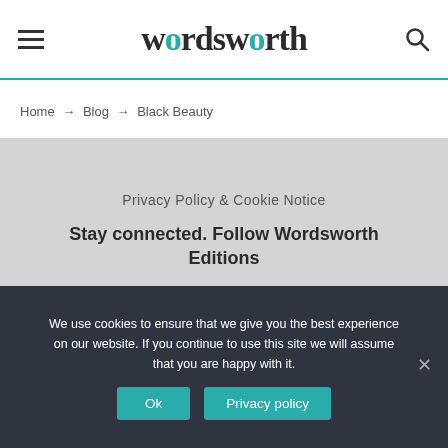wordsworth
Home → Blog → Black Beauty
Privacy Policy & Cookie Notice
Stay connected. Follow Wordsworth Editions
[Figure (illustration): Social media icons: Twitter bird, Facebook f, Instagram camera]
We use cookies to ensure that we give you the best experience on our website. If you continue to use this site we will assume that you are happy with it.